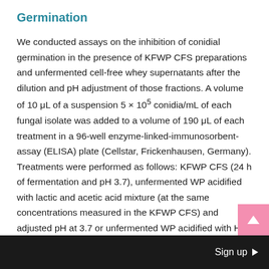Germination
We conducted assays on the inhibition of conidial germination in the presence of KFWP CFS preparations and unfermented cell-free whey supernatants after the dilution and pH adjustment of those fractions. A volume of 10 μL of a suspension 5 × 10⁵ conidia/mL of each fungal isolate was added to a volume of 190 μL of each treatment in a 96-well enzyme-linked-immunosorbent-assay (ELISA) plate (Cellstar, Frickenhausen, Germany). Treatments were performed as follows: KFWP CFS (24 h of fermentation and pH 3.7), unfermented WP acidified with lactic and acetic acid mixture (at the same concentrations measured in the KFWP CFS) and adjusted pH at 3.7 or unfermented WP acidified with HCl and adjusted pH at 3.7. Controls were performed with cell-free supernatant of WP added with the same concentration of conidia
Sign up